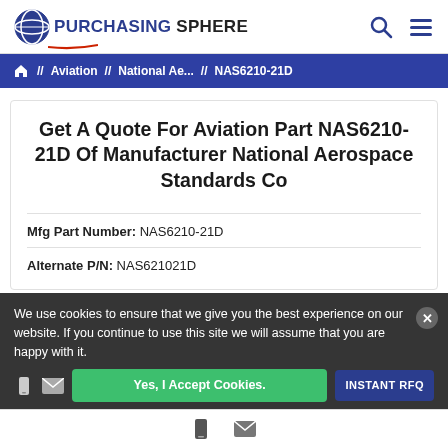PURCHASING SPHERE
Aviation // National Ae... // NAS6210-21D
Get A Quote For Aviation Part NAS6210-21D Of Manufacturer National Aerospace Standards Co
Mfg Part Number: NAS6210-21D
Alternate P/N: NAS621021D
We use cookies to ensure that we give you the best experience on our website. If you continue to use this site we will assume that you are happy with it.